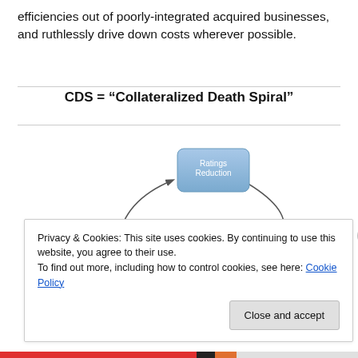efficiencies out of poorly-integrated acquired businesses, and ruthlessly drive down costs wherever possible.
CDS = “Collateralized Death Spiral”
[Figure (flowchart): Circular flowchart showing the Collateralized Death Spiral: Ratings Reduction -> Collateral Call Under CDS Agreements -> Securities -> Capital Base Reduced -> back to Ratings Reduction]
Privacy & Cookies: This site uses cookies. By continuing to use this website, you agree to their use.
To find out more, including how to control cookies, see here: Cookie Policy
Close and accept